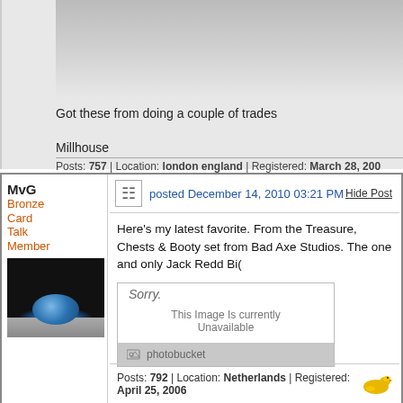[Figure (photo): Partial image of an object on grey background, cut off at top]
Got these from doing a couple of trades
Millhouse
Posts: 757 | Location: london england | Registered: March 28, 200...
MvG
Bronze Card Talk Member
[Figure (photo): Avatar showing earth rising over moon surface]
posted December 14, 2010 03:21 PM
Hide Post
Here's my latest favorite. From the Treasure, Chests & Booty set from Bad Axe Studios. The one and only Jack Redd Bi(
[Figure (photo): Photobucket placeholder image: Sorry. This Image Is currently Unavailable]
Posts: 792 | Location: Netherlands | Registered: April 25, 2006